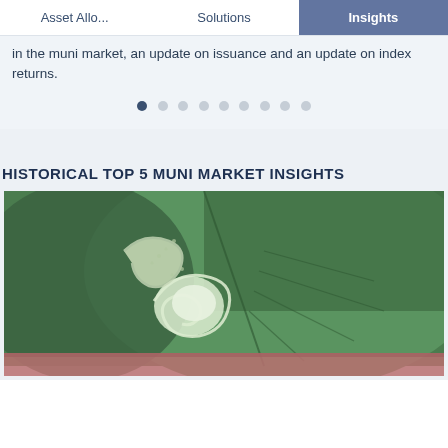Asset Allo...    Solutions    Insights
in the muni market, an update on issuance and an update on index returns.
HISTORICAL TOP 5 MUNI MARKET INSIGHTS
[Figure (photo): Close-up photograph of a green leaf with a spiraling caterpillar or plant tendril curling in a fibonacci/spiral pattern on the leaf surface, with fine hairs/spines visible. A pink-red band appears at the bottom of the image.]